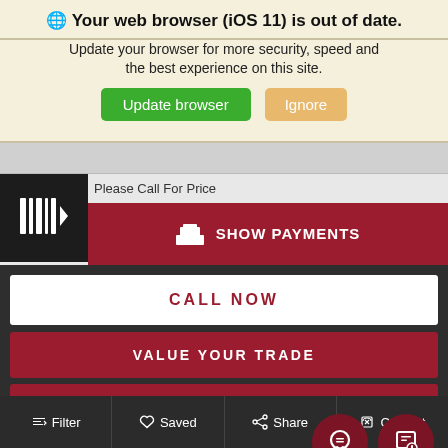🌐 Your web browser (iOS 11) is out of date.
Update your browser for more security, speed and the best experience on this site.
Update browser | Ignore
Please Call For Price
SHOW PAYMENTS
CALL NOW
VALUE YOUR TRADE
CHECK AVAILABILITY
MPG Disclaimer:
Filter  Saved  Share  Contact